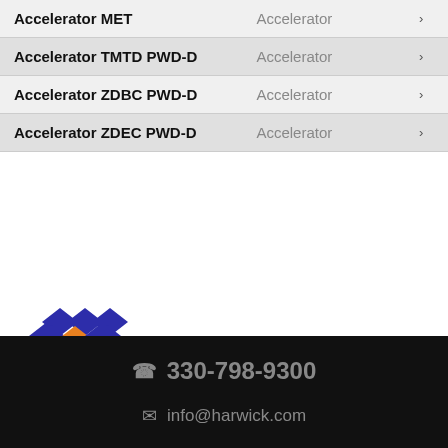| Product | Category |  |
| --- | --- | --- |
| Accelerator MET | Accelerator |  |
| Accelerator TMTD PWD-D | Accelerator |  |
| Accelerator ZDBC PWD-D | Accelerator |  |
| Accelerator ZDEC PWD-D | Accelerator |  |
[Figure (logo): Kemai China logo with blue diamond pattern and orange center diamond, text reads Kemai China]
KEMAI CHINA : RUBBER CHEMICAL
330-798-9300  info@harwick.com